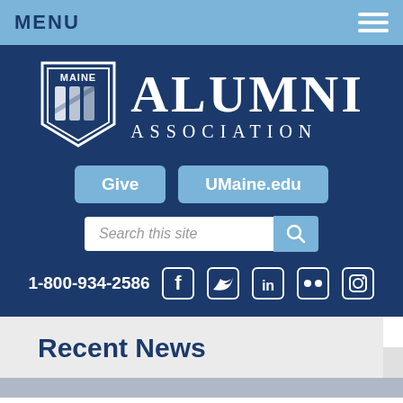MENU
[Figure (logo): University of Maine Alumni Association logo with shield and text ALUMNI ASSOCIATION]
Give   UMaine.edu
Search this site
1-800-934-2586
Recent News